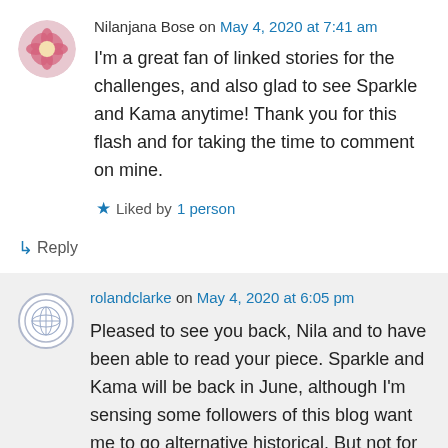Nilanjana Bose on May 4, 2020 at 7:41 am
I'm a great fan of linked stories for the challenges, and also glad to see Sparkle and Kama anytime! Thank you for this flash and for taking the time to comment on mine.
Liked by 1 person
↳ Reply
rolandclarke on May 4, 2020 at 6:05 pm
Pleased to see you back, Nila and to have been able to read your piece. Sparkle and Kama will be back in June, although I'm sensing some followers of this blog want me to go alternative historical. But not for